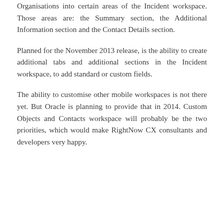Organisations into certain areas of the Incident workspace. Those areas are: the Summary section, the Additional Information section and the Contact Details section.
Planned for the November 2013 release, is the ability to create additional tabs and additional sections in the Incident workspace, to add standard or custom fields.
The ability to customise other mobile workspaces is not there yet. But Oracle is planning to provide that in 2014. Custom Objects and Contacts workspace will probably be the two priorities, which would make RightNow CX consultants and developers very happy.